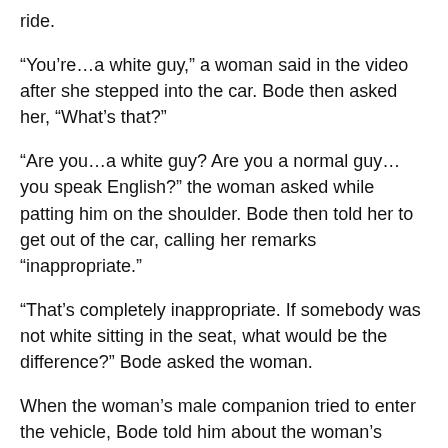ride.
“You’re…a white guy,” a woman said in the video after she stepped into the car. Bode then asked her, “What’s that?”
“Are you…a white guy? Are you a normal guy…you speak English?” the woman asked while patting him on the shoulder. Bode then told her to get out of the car, calling her remarks “inappropriate.”
“That’s completely inappropriate. If somebody was not white sitting in the seat, what would be the difference?” Bode asked the woman.
When the woman’s male companion tried to enter the vehicle, Bode told him about the woman’s remarks and that they would have to find another ride, which enraged the man.